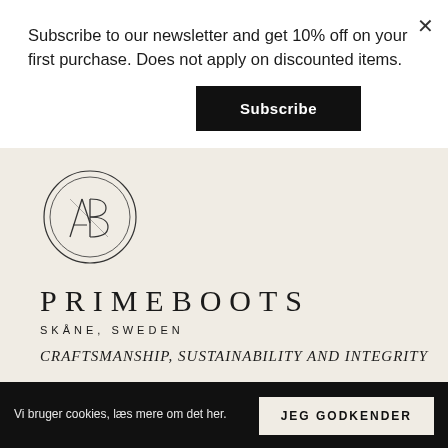Subscribe to our newsletter and get 10% off on your first purchase. Does not apply on discounted items.
Subscribe
[Figure (logo): Primeboots circular monogram logo with stylized letters inside a double circle]
PRIMEBOOTS
SKÅNE, SWEDEN
CRAFTSMANSHIP, SUSTAINABILITY AND INTEGRITY
Vi bruger cookies, læs mere om det her.
JEG GODKENDER